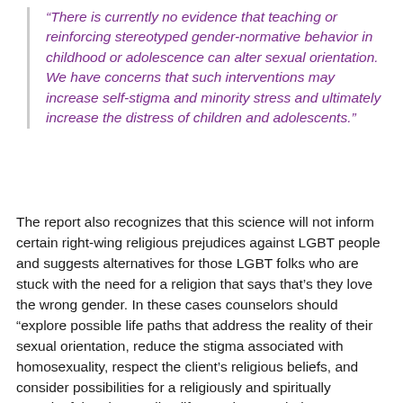“There is currently no evidence that teaching or reinforcing stereotyped gender-normative behavior in childhood or adolescence can alter sexual orientation. We have concerns that such interventions may increase self-stigma and minority stress and ultimately increase the distress of children and adolescents.”
The report also recognizes that this science will not inform certain right-wing religious prejudices against LGBT people and suggests alternatives for those LGBT folks who are stuck with the need for a religion that says that’s they love the wrong gender. In these cases counselors should “explore possible life paths that address the reality of their sexual orientation, reduce the stigma associated with homosexuality, respect the client’s religious beliefs, and consider possibilities for a religiously and spiritually meaningful and rewarding life,” such as exploring a community of faith that affirms them.